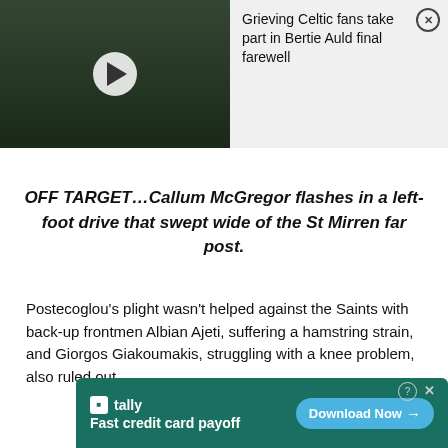[Figure (screenshot): Video thumbnail showing a crowd of people gathered outdoors with a police car visible, overlaid with a play button icon]
Grieving Celtic fans take part in Bertie Auld final farewell
OFF TARGET…Callum McGregor flashes in a left-foot drive that swept wide of the St Mirren far post.
Postecoglou's plight wasn't helped against the Saints with back-up frontmen Albian Ajeti, suffering a hamstring strain, and Giorgos Giakoumakis, struggling with a knee problem, also ruled out.
[Figure (screenshot): Advertisement banner for Tally app: 'Fast credit card payoff' with Download Now button]